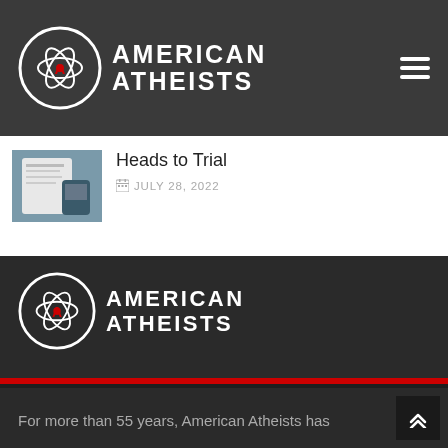American Atheists
[Figure (logo): American Atheists logo with atom symbol in circle]
Heads to Trial
JULY 28, 2022
[Figure (logo): American Atheists footer logo with atom symbol in circle]
For more than 55 years, American Atheists has